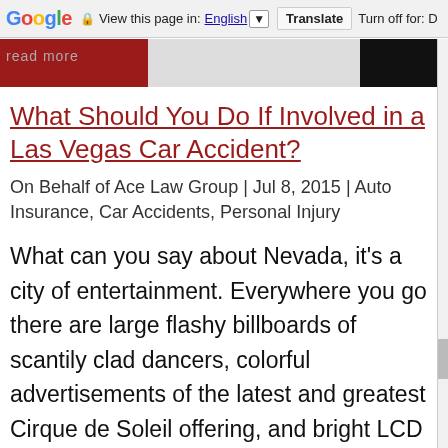Google | View this page in: English | Translate | Turn off for: D
[Figure (screenshot): Website banner strip with red, grey, and black sections. Partial text 'read more' visible.]
What Should You Do If Involved in a Las Vegas Car Accident?
On Behalf of Ace Law Group | Jul 8, 2015 | Auto Insurance, Car Accidents, Personal Injury
What can you say about Nevada, it's a city of entertainment. Everywhere you go there are large flashy billboards of scantily clad dancers, colorful advertisements of the latest and greatest Cirque de Soleil offering, and bright LCD screens displaying the hottest night...
read more